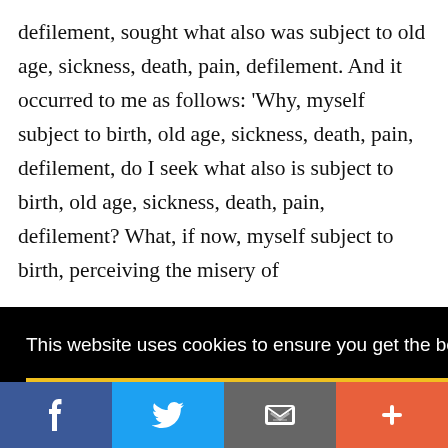defilement, sought what also was subject to old age, sickness, death, pain, defilement. And it occurred to me as follows: 'Why, myself subject to birth, old age, sickness, death, pain, defilement, do I seek what also is subject to birth, old age, sickness, death, pain, defilement? What, if now, myself subject to birth, perceiving the misery of
This website uses cookies to ensure you get the best experience on our website.
Got it!